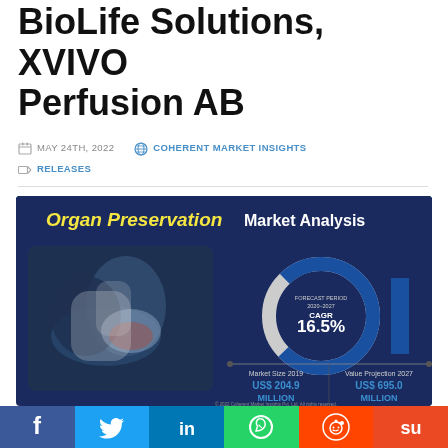BioLife Solutions, XVIVO Perfusion AB
MAY 24TH, 2022   COHERENT MARKET INSIGHTS   RELEASES
[Figure (infographic): Organ Preservation Market Analysis infographic showing CAGR 16.5% for Forecast Period 2020-2027, Market Size 2019: US$ 204.9 Million, Value Projection 2027: US$ 695.0 Million, with photo of medical professional handling organ preservation bag]
Facebook Twitter LinkedIn WhatsApp Reddit StumbleUpon social sharing bar